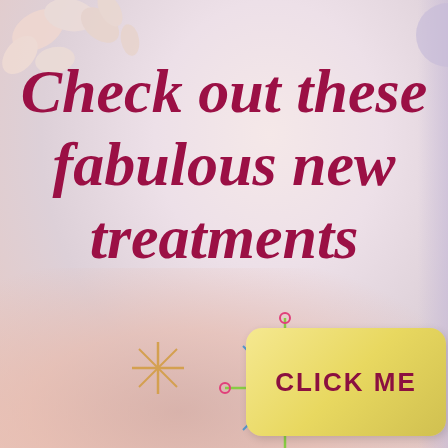[Figure (illustration): Decorative cherry blossom flowers in top-left corner, pale pink/white petals on gray background]
[Figure (illustration): Partial lavender circle in top-right corner]
Check out these fabulous new treatments
[Figure (illustration): Orange/gold 4-pointed sparkle star decoration]
[Figure (illustration): Colorful sunburst/starburst decoration with pink, green, blue lines and pink circle endpoints, central circle]
[Figure (illustration): Yellow/cream rounded rectangle button with text CLICK ME in dark red bold caps]